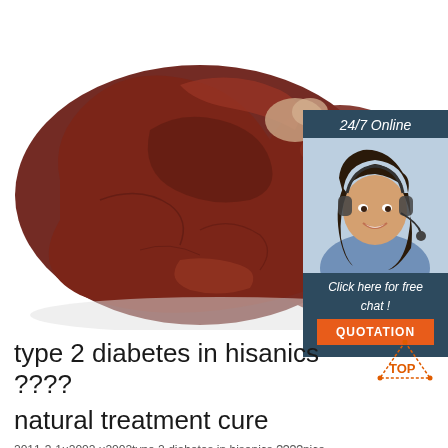[Figure (photo): Raw animal liver (beef/pork) on white background, dark reddish-brown organ with lobes visible]
[Figure (photo): Advertisement banner: '24/7 Online' with a smiling woman wearing a headset, 'Click here for free chat!' text and orange QUOTATION button, dark blue-grey background]
type 2 diabetes in hisanics ???? natural treatment cure
2011-3-1u2002·u2002type 2 diabetes in hisanics ????nice.